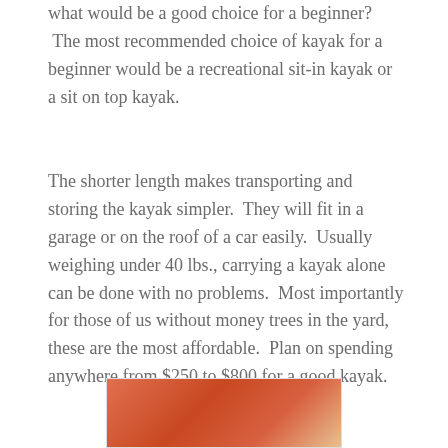what would be a good choice for a beginner?  The most recommended choice of kayak for a beginner would be a recreational sit-in kayak or a sit on top kayak.
The shorter length makes transporting and storing the kayak simpler.  They will fit in a garage or on the roof of a car easily.  Usually weighing under 40 lbs., carrying a kayak alone can be done with no problems.  Most importantly for those of us without money trees in the yard, these are the most affordable.  Plan on spending anywhere from $250 to $800 for a good kayak.
[Figure (photo): A close-up photo of what appears to be the inside of a red/orange kayak hull]